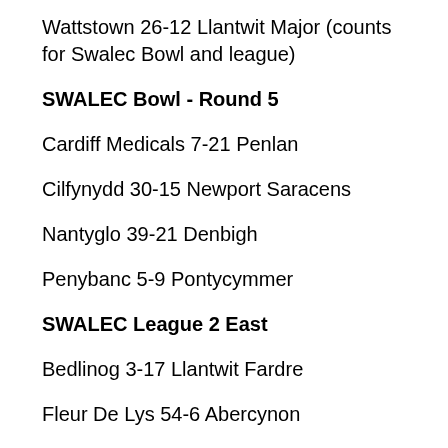Wattstown 26-12 Llantwit Major (counts for Swalec Bowl and league)
SWALEC Bowl - Round 5
Cardiff Medicals 7-21 Penlan
Cilfynydd 30-15 Newport Saracens
Nantyglo 39-21 Denbigh
Penybanc 5-9 Pontycymmer
SWALEC League 2 East
Bedlinog 3-17 Llantwit Fardre
Fleur De Lys 54-6 Abercynon
Llanishen 20-25 Senghenydd